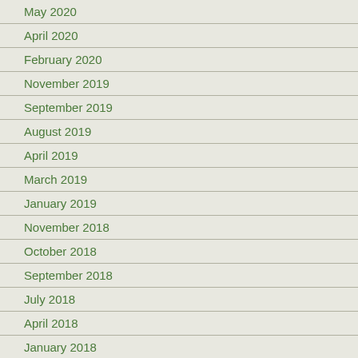May 2020
April 2020
February 2020
November 2019
September 2019
August 2019
April 2019
March 2019
January 2019
November 2018
October 2018
September 2018
July 2018
April 2018
January 2018